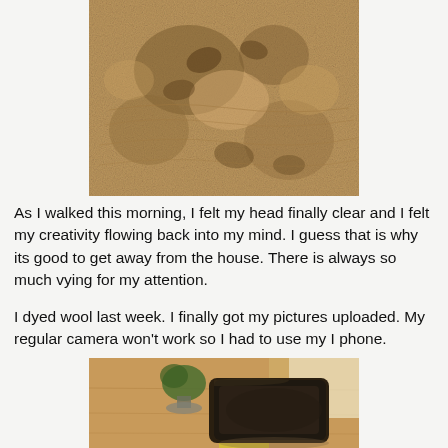[Figure (photo): Close-up photograph of wet sand with footprint impressions visible on a beach]
As I walked this morning, I felt my head finally clear and I felt my creativity flowing back into my mind. I guess that is why its good to get away from the house. There is always so much vying for my attention.

I dyed wool last week. I finally got my pictures uploaded. My regular camera won't work so I had to use my I phone.
[Figure (photo): Photograph of dark brown/black dyed wool fabric folded on a wooden table, with a potted plant visible in the background and yellow fabric underneath]